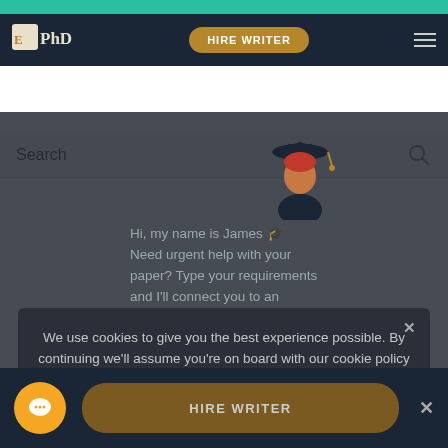[Figure (screenshot): Top green promotional bar of a PhD writing service website]
EPhD | HIRE WRITER
Search
[Figure (illustration): Cartoon avatar of a student wearing a graduation cap]
Hi, my name is James 🎓
Need urgent help with your paper? Type your requirements and I'll connect you to an
We use cookies to give you the best experience possible. By continuing we'll assume you're on board with our cookie policy
HIRE WRITER